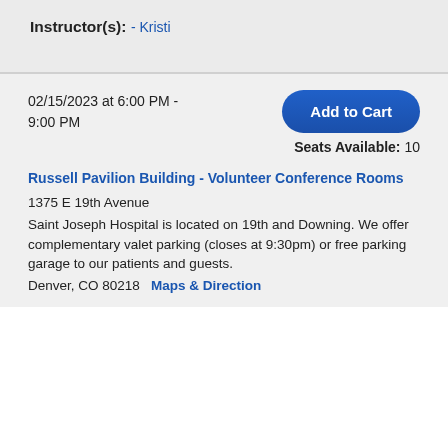Instructor(s):
- Kristi
02/15/2023 at 6:00 PM - 9:00 PM
Add to Cart
Seats Available: 10
Russell Pavilion Building - Volunteer Conference Rooms
1375 E 19th Avenue
Saint Joseph Hospital is located on 19th and Downing. We offer complementary valet parking (closes at 9:30pm) or free parking garage to our patients and guests.
Denver, CO 80218   Maps & Direction